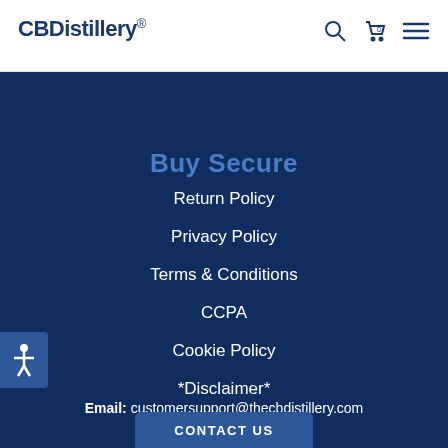CBDistillery
Buy Secure
Return Policy
Privacy Policy
Terms & Conditions
CCPA
Cookie Policy
*Disclaimer*
Email: customersupport@thecbdistillery.com
Hours: 8am - 5pm MST
CONTACT US